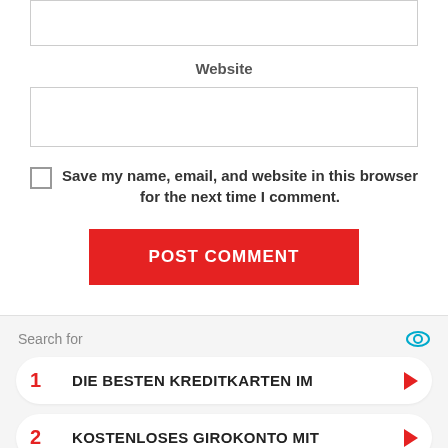[Figure (screenshot): Empty text input box (form field)]
Website
[Figure (screenshot): Empty website text input box (form field)]
Save my name, email, and website in this browser for the next time I comment.
POST COMMENT
Search for
1 DIE BESTEN KREDITKARTEN IM
2 KOSTENLOSES GIROKONTO MIT